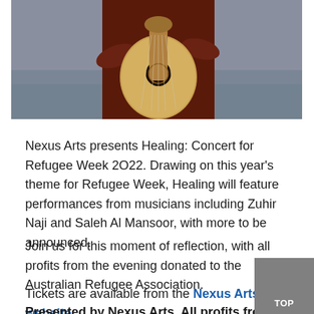[Figure (photo): A person playing an oud (lute-like stringed instrument), wearing a dark red/maroon outfit, photographed near water. Only the hands, instrument, and lower torso are visible.]
Nexus Arts presents Healing: Concert for Refugee Week 2O22. Drawing on this year's theme for Refugee Week, Healing will feature performances from musicians including Zuhir Naji and Saleh Al Mansoor, with more to be announced.
Join us for this moment of reflection, with all profits from the evening donated to the Australian Refugee Association.
Tickets are available from the Nexus Arts website.
Presented by Nexus Arts. All profits from this event